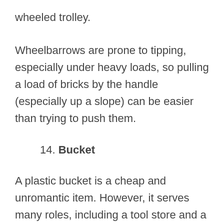wheeled trolley.
Wheelbarrows are prone to tipping, especially under heavy loads, so pulling a load of bricks by the handle (especially up a slope) can be easier than trying to push them.
14. Bucket
A plastic bucket is a cheap and unromantic item. However, it serves many roles, including a tool store and a mixing bowl for mortar if a cement mixer is too much.